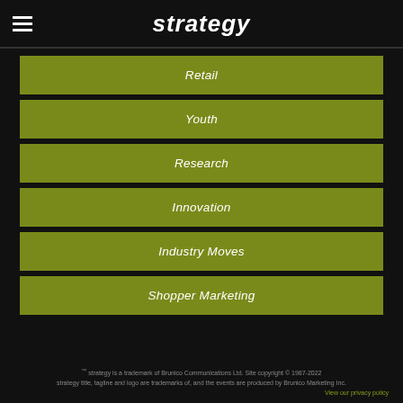strategy
Retail
Youth
Research
Innovation
Industry Moves
Shopper Marketing
™ strategy is a trademark of Brunico Communications Ltd. Site copyright © 1987-2022 strategy title, tagline and logo are trademarks of, and the events are produced by Brunico Marketing Inc. View our privacy policy